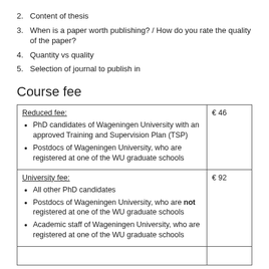2. Content of thesis
3. When is a paper worth publishing? / How do you rate the quality of the paper?
4. Quantity vs quality
5. Selection of journal to publish in
Course fee
| Description | Fee |
| --- | --- |
| Reduced fee:
• PhD candidates of Wageningen University with an approved Training and Supervision Plan (TSP)
• Postdocs of Wageningen University, who are registered at one of the WU graduate schools | € 46 |
| University fee:
• All other PhD candidates
• Postdocs of Wageningen University, who are not registered at one of the WU graduate schools
• Academic staff of Wageningen University, who are registered at one of the WU graduate schools | € 92 |